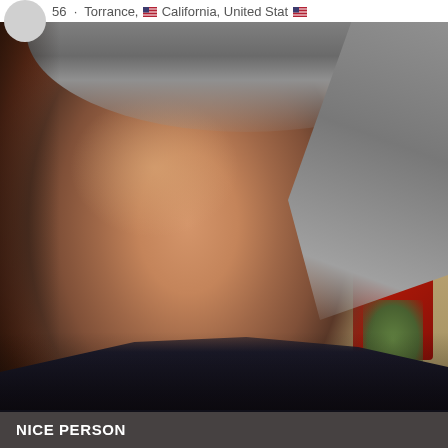56 · Torrance, California, United States
[Figure (photo): Close-up photo of a middle-aged man with gray hair and tan skin, smiling, wearing a dark shirt. Background shows outdoor elements including a red structure and green foliage.]
NICE PERSON